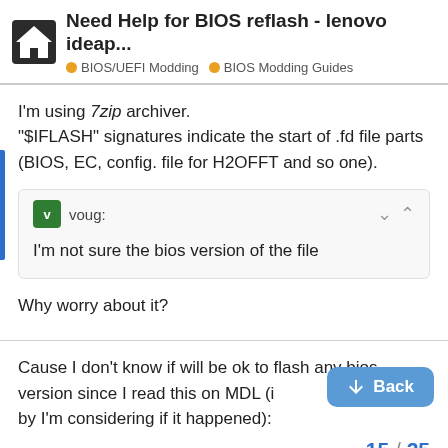Need Help for BIOS reflash - lenovo ideap... | BIOS/UEFI Modding | BIOS Modding Guides
I'm using 7zip archiver. "$IFLASH" signatures indicate the start of .fd file parts (BIOS, EC, config. file for H2OFFT and so one).
voug: I'm not sure the bios version of the file
Why worry about it?
Cause I don't know if will be ok to flash any bios version since I read this on MDL (i... by I'm considering if it happened):